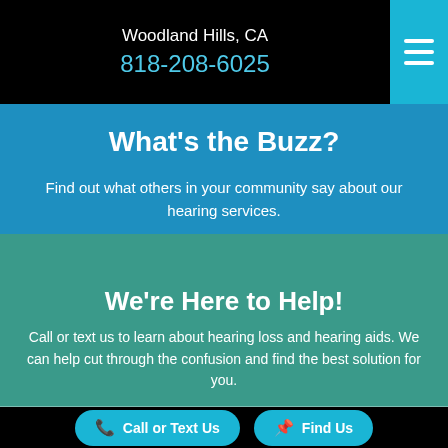Woodland Hills, CA
818-208-6025
What's the Buzz?
Find out what others in your community say about our hearing services.
We're Here to Help!
Call or text us to learn about hearing loss and hearing aids. We can help cut through the confusion and find the best solution for you.
Call or Text Us
Find Us